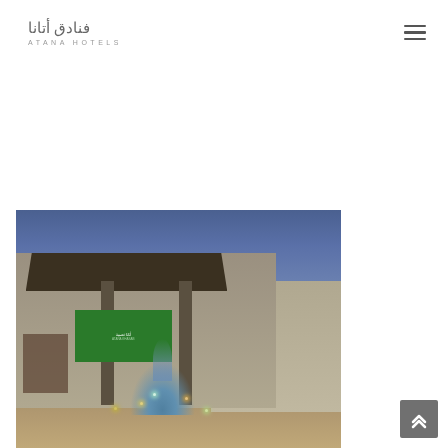[Figure (logo): Atana Hotels logo with Arabic text فنادق أتانا above and ATANA HOTELS in Latin letters below]
[Figure (other): Hamburger menu icon (three horizontal lines) in top right corner]
[Figure (photo): Exterior photo of Atana hotel entrance at dusk/twilight showing a modern low-rise building with overhanging flat roof, illuminated green Arabic signage, a decorative fountain with lighting, and trees in background under a blue twilight sky]
[Figure (other): Scroll-to-top button with upward chevron arrows in grey box, bottom right]